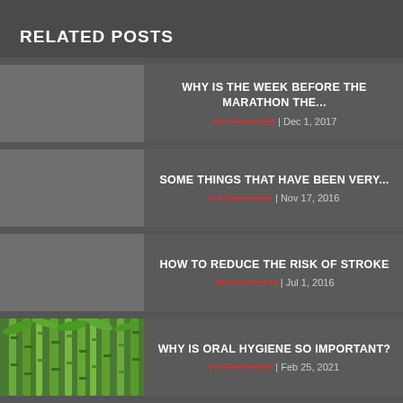RELATED POSTS
WHY IS THE WEEK BEFORE THE MARATHON THE...
No Comments | Dec 1, 2017
SOME THINGS THAT HAVE BEEN VERY...
No Comments | Nov 17, 2016
HOW TO REDUCE THE RISK OF STROKE
No Comments | Jul 1, 2016
WHY IS ORAL HYGIENE SO IMPORTANT?
No Comments | Feb 25, 2021